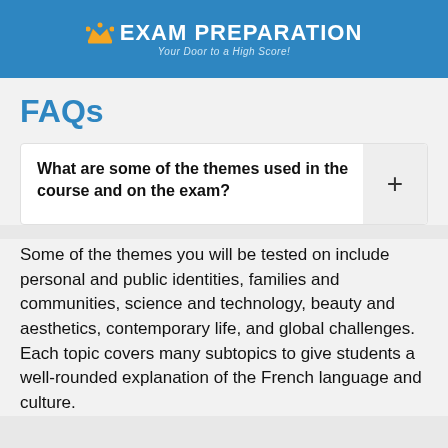[Figure (logo): Exam Preparation logo with gold crown icon, white bold text 'EXAM PREPARATION', and italic subtitle 'Your Door to a High Score!' on blue background]
FAQs
What are some of the themes used in the course and on the exam?
Some of the themes you will be tested on include personal and public identities, families and communities, science and technology, beauty and aesthetics, contemporary life, and global challenges. Each topic covers many subtopics to give students a well-rounded explanation of the French language and culture.